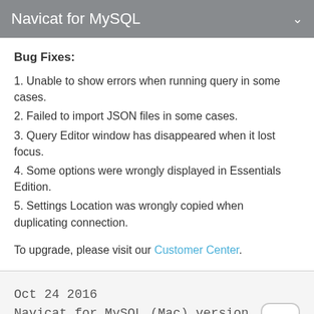Navicat for MySQL
Bug Fixes:
1. Unable to show errors when running query in some cases.
2. Failed to import JSON files in some cases.
3. Query Editor window has disappeared when it lost focus.
4. Some options were wrongly displayed in Essentials Edition.
5. Settings Location was wrongly copied when duplicating connection.
To upgrade, please visit our Customer Center.
Oct 24 2016
Navicat for MySQL (Mac) version 11.2.15